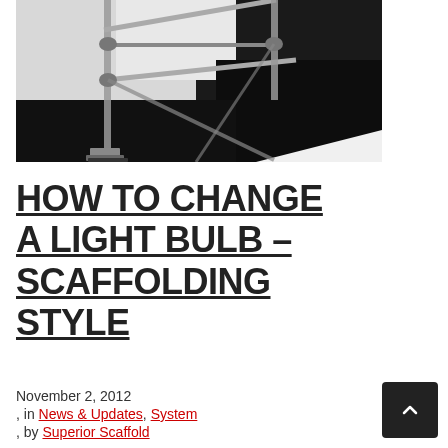[Figure (photo): Scaffolding structure with metal poles, clamps, and base plates on a black floor, viewed from above/angle]
HOW TO CHANGE A LIGHT BULB – SCAFFOLDING STYLE
November 2, 2012
, in News & Updates, System
, by Superior Scaffold